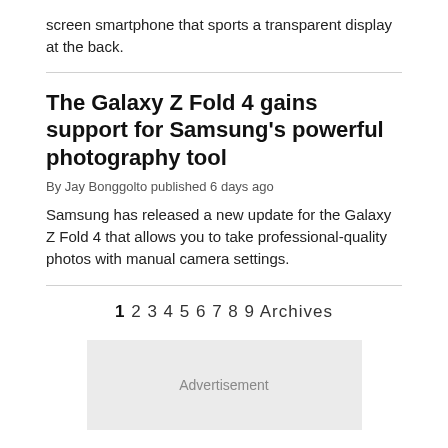screen smartphone that sports a transparent display at the back.
The Galaxy Z Fold 4 gains support for Samsung's powerful photography tool
By Jay Bonggolto published 6 days ago
Samsung has released a new update for the Galaxy Z Fold 4 that allows you to take professional-quality photos with manual camera settings.
1 2 3 4 5 6 7 8 9 Archives
Advertisement